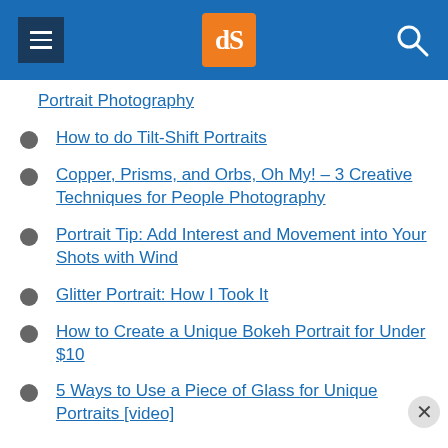dPS navigation header
Portrait Photography
How to do Tilt-Shift Portraits
Copper, Prisms, and Orbs, Oh My! – 3 Creative Techniques for People Photography
Portrait Tip: Add Interest and Movement into Your Shots with Wind
Glitter Portrait: How I Took It
How to Create a Unique Bokeh Portrait for Under $10
5 Ways to Use a Piece of Glass for Unique Portraits [video]